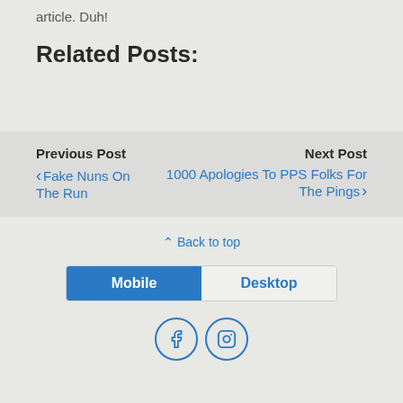article. Duh!
Related Posts:
Previous Post
‹ Fake Nuns On The Run
Next Post
1000 Apologies To PPS Folks For The Pings ›
⌃ Back to top
[Figure (screenshot): Toggle bar with Mobile (blue, active) and Desktop (grey) buttons]
[Figure (screenshot): Social media icons: Facebook and Instagram in circular outlines]